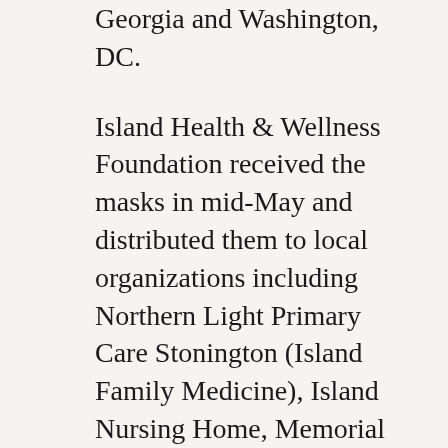Georgia and Washington, DC.
Island Health & Wellness Foundation received the masks in mid-May and distributed them to local organizations including Northern Light Primary Care Stonington (Island Family Medicine), Island Nursing Home, Memorial Ambulance Corps, Coastline Physical Therapy & Performance, Seaside Pharmacy, Friendship Cottage, Healthy Island Project, The Island Food Pantry, etc.